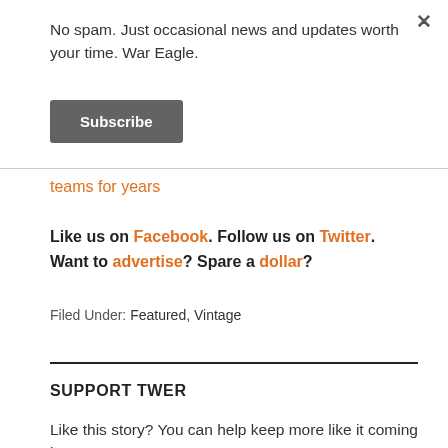No spam. Just occasional news and updates worth your time. War Eagle.
Subscribe
teams for years
Like us on Facebook. Follow us on Twitter. Want to advertise? Spare a dollar?
Filed Under: Featured, Vintage
SUPPORT TWER
Like this story? You can help keep more like it coming by